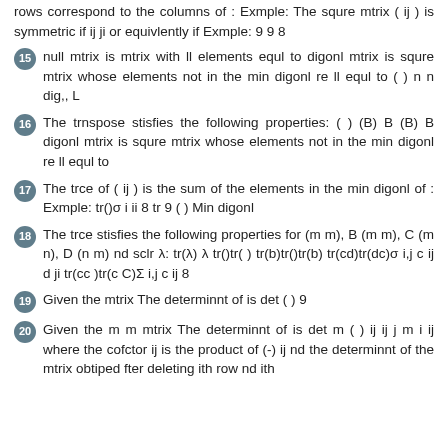rows correspond to the columns of : Exmple: The squre mtrix ( ij ) is symmetric if ij ji or equivlently if Exmple: 9 9 8
15  null mtrix is mtrix with ll elements equl to digonl mtrix is squre mtrix whose elements not in the min digonl re ll equl to ( ) n n dig,, L
16  The trnspose stisfies the following properties: ( ) (B) B (B) B digonl mtrix is squre mtrix whose elements not in the min digonl re ll equl to
17  The trce of ( ij ) is the sum of the elements in the min digonl of : Exmple: tr()σ i ii 8 tr 9 ( ) Min digonl
18  The trce stisfies the following properties for (m m), B (m m), C (m n), D (n m) nd sclr λ: tr(λ) λ tr()tr( ) tr(b)tr()tr(b) tr(cd)tr(dc)σ i,j c ij d ji tr(cc )tr(c C)Σ i,j c ij 8
19  Given the mtrix The determinnt of is det ( ) 9
20  Given the m m mtrix The determinnt of is det m ( ) ij ij j m i ij where the cofctor ij is the product of (-) ij nd the determinnt of the mtrix obtiped fter deleting ith row nd ith